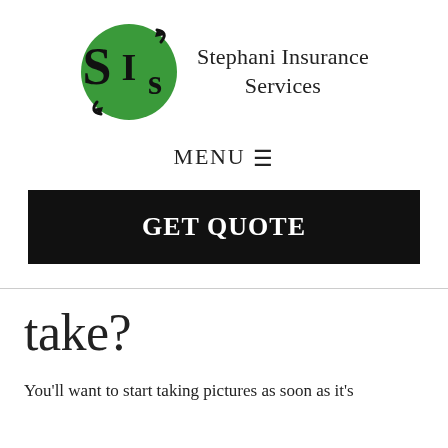[Figure (logo): Stephani Insurance Services logo: green circle with SIS letters and company name to the right]
MENU ≡
GET QUOTE
take?
You'll want to start taking pictures as soon as it's